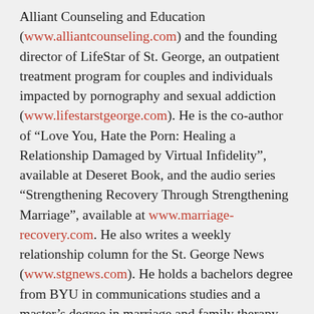Alliant Counseling and Education (www.alliantcounseling.com) and the founding director of LifeStar of St. George, an outpatient treatment program for couples and individuals impacted by pornography and sexual addiction (www.lifestarstgeorge.com). He is the co-author of “Love You, Hate the Porn: Healing a Relationship Damaged by Virtual Infidelity”, available at Deseret Book, and the audio series “Strengthening Recovery Through Strengthening Marriage”, available at www.marriage-recovery.com. He also writes a weekly relationship column for the St. George News (www.stgnews.com). He holds a bachelors degree from BYU in communications studies and a master’s degree in marriage and family therapy from Auburn University. He served a full-time mission to the Dominican Republic and